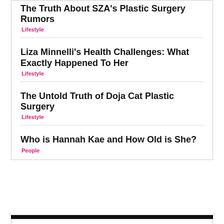The Truth About SZA's Plastic Surgery Rumors
Lifestyle
Liza Minnelli's Health Challenges: What Exactly Happened To Her
Lifestyle
The Untold Truth of Doja Cat Plastic Surgery
Lifestyle
Who is Hannah Kae and How Old is She?
People